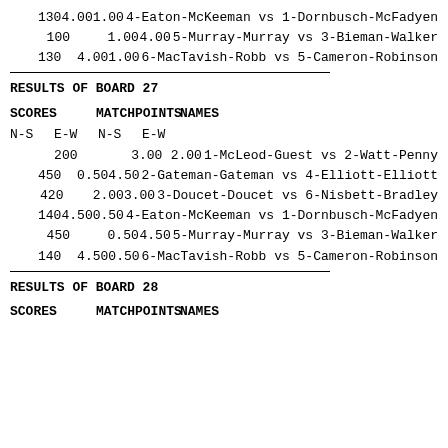130   4.00  1.00 4-Eaton-McKeeman vs 1-Dornbusch-McFadyen
100        1.00  4.00 5-Murray-Murray vs 3-Bieman-Walker
130        4.00  1.00 6-MacTavish-Robb vs 5-Cameron-Robinson
RESULTS OF BOARD 27
SCORES   MATCHPOINTS   NAMES
N-S  E-W   N-S   E-W
200  3.00  2.00 1-McLeod-Guest vs 2-Watt-Penny
450  0.50  4.50 2-Gateman-Gateman vs 4-Elliott-Elliott
420  2.00  3.00 3-Doucet-Doucet vs 6-Nisbett-Bradley
140  4.50  0.50 4-Eaton-McKeeman vs 1-Dornbusch-McFadyen
450  0.50  4.50 5-Murray-Murray vs 3-Bieman-Walker
140  4.50  0.50 6-MacTavish-Robb vs 5-Cameron-Robinson
RESULTS OF BOARD 28
SCORES   MATCHPOINTS   NAMES